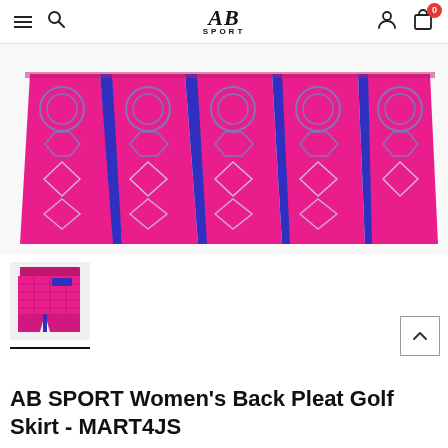AB SPORT navigation bar with menu, search, logo, user, and cart icons
[Figure (photo): Close-up product image of AB SPORT Women's Back Pleat Golf Skirt showing hot pink/magenta fabric with geometric blue and silver pattern, pleated bottom edge visible]
[Figure (photo): Thumbnail image of the full AB SPORT Women's Back Pleat Golf Skirt in pink/magenta plaid pattern with blue accents and back pleat detail, selected (underlined)]
AB SPORT Women's Back Pleat Golf Skirt - MART4JS